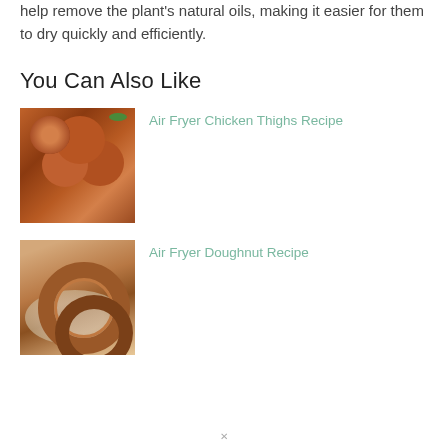help remove the plant's natural oils, making it easier for them to dry quickly and efficiently.
You Can Also Like
[Figure (photo): Photo of air fryer chicken thighs in a dark pan, garnished with herbs]
Air Fryer Chicken Thighs Recipe
[Figure (photo): Photo of air fryer doughnuts on a plate, sugar-dusted]
Air Fryer Doughnut Recipe